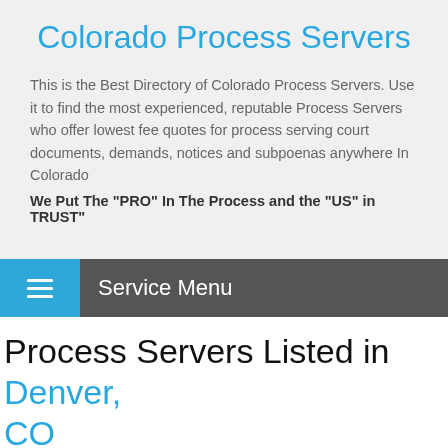Colorado Process Servers
This is the Best Directory of Colorado Process Servers. Use it to find the most experienced, reputable Process Servers who offer lowest fee quotes for process serving court documents, demands, notices and subpoenas anywhere In Colorado
We Put The "PRO" In The Process and the "US" in TRUST"
Service Menu
Process Servers Listed in Denver, CO